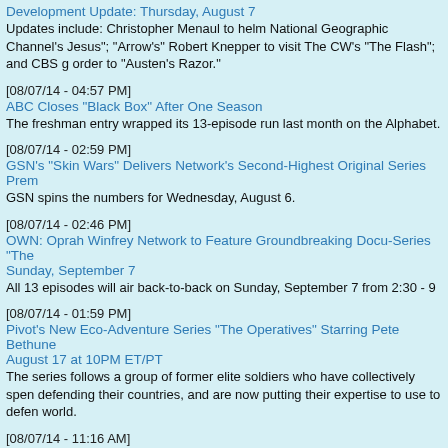[partial top entry] Development Update: Thursday, August 7 — Updates include: Christopher Menaul to helm National Geographic Channel's Jesus; Arrow's Robert Knepper to visit The CW's The Flash; and CBS gives order to Austen's Razor.
[08/07/14 - 04:57 PM]
ABC Closes "Black Box" After One Season
The freshman entry wrapped its 13-episode run last month on the Alphabet.
[08/07/14 - 02:59 PM]
GSN's "Skin Wars" Delivers Network's Second-Highest Original Series Premiere
GSN spins the numbers for Wednesday, August 6.
[08/07/14 - 02:46 PM]
OWN: Oprah Winfrey Network to Feature Groundbreaking Docu-Series "The" Sunday, September 7
All 13 episodes will air back-to-back on Sunday, September 7 from 2:30 - 9
[08/07/14 - 01:59 PM]
Pivot's New Eco-Adventure Series "The Operatives" Starring Pete Bethune August 17 at 10PM ET/PT
The series follows a group of former elite soldiers who have collectively spent defending their countries, and are now putting their expertise to use to defend world.
[08/07/14 - 11:16 AM]
Desintation America Returns to the Land of the Free with an All-New Season Alaska"
The show's 30-episode third season premieres Saturday, September 6 at 9: